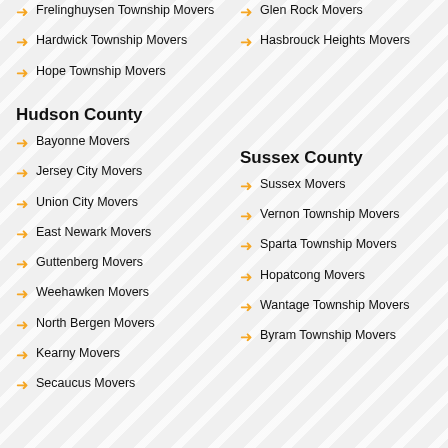Glen Rock Movers
Frelinghuysen Township Movers
Hasbrouck Heights Movers
Hardwick Township Movers
Hope Township Movers
Hudson County
Sussex County
Bayonne Movers
Sussex Movers
Jersey City Movers
Vernon Township Movers
Union City Movers
Sparta Township Movers
East Newark Movers
Hopatcong Movers
Guttenberg Movers
Wantage Township Movers
Weehawken Movers
Byram Township Movers
North Bergen Movers
Kearny Movers
Secaucus Movers